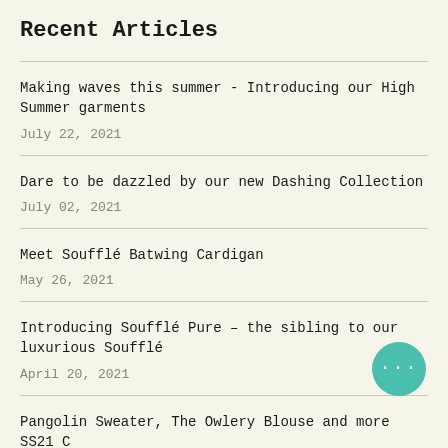Recent Articles
Making waves this summer - Introducing our High Summer garments
July 22, 2021
Dare to be dazzled by our new Dashing Collection
July 02, 2021
Meet Soufflé Batwing Cardigan
May 26, 2021
Introducing Soufflé Pure – the sibling to our luxurious Soufflé
April 20, 2021
Pangolin Sweater, The Owlery Blouse and more SS21 C…
April 06, 2021
SS21 - Magnolia Bloom and the next 8 beautiful shades of our…